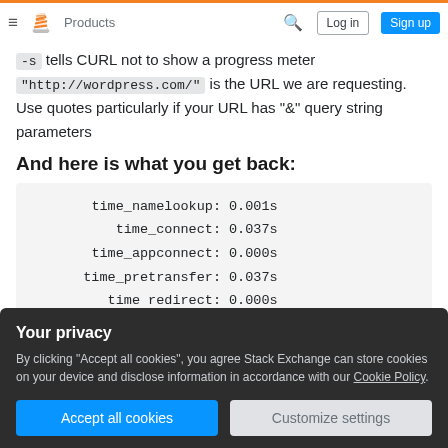Products | Log in | Sign up
-s tells CURL not to show a progress meter
"http://wordpress.com/" is the URL we are requesting. Use quotes particularly if your URL has "&" query string parameters
And here is what you get back:
time_namelookup:  0.001s
time_connect:  0.037s
time_appconnect:  0.000s
time_pretransfer:  0.037s
time redirect:  0.000s
Your privacy
By clicking "Accept all cookies", you agree Stack Exchange can store cookies on your device and disclose information in accordance with our Cookie Policy.
Accept all cookies | Customize settings
the comments below.